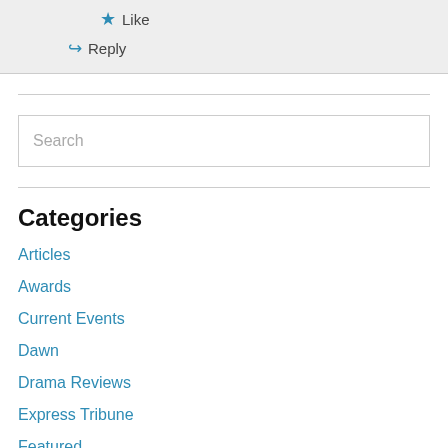Like
Reply
Categories
Articles
Awards
Current Events
Dawn
Drama Reviews
Express Tribune
Featured